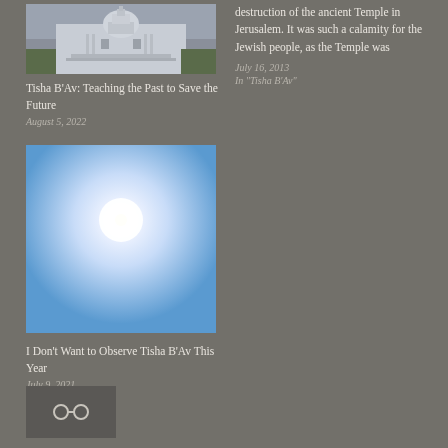[Figure (photo): Photo of the U.S. Capitol building]
Tisha B'Av: Teaching the Past to Save the Future
August 5, 2022
destruction of the ancient Temple in Jerusalem. It was such a calamity for the Jewish people, as the Temple was
July 16, 2013
In "Tisha B'Av"
[Figure (photo): Photo of a bright sun in a blue sky]
I Don't Want to Observe Tisha B'Av This Year
July 9, 2021
In "Covid-19"
[Figure (other): Share button with link icon]